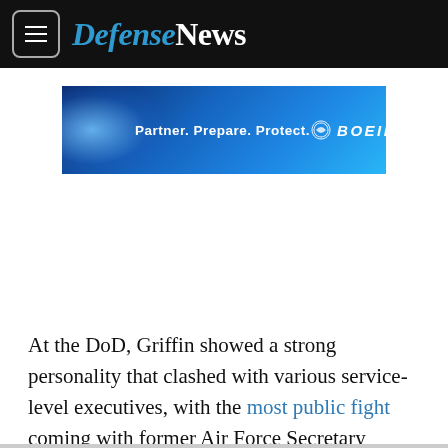DefenseNews
[Figure (illustration): Boeing advertisement banner with blue background and text 'Partner. Prepare. Protect.' with Boeing logo]
At the DoD, Griffin showed a strong personality that clashed with various service-level executives, with the most public fight coming with former Air Force Secretary Heather Wilson. The news emerged a day after the House Armed Services Committee